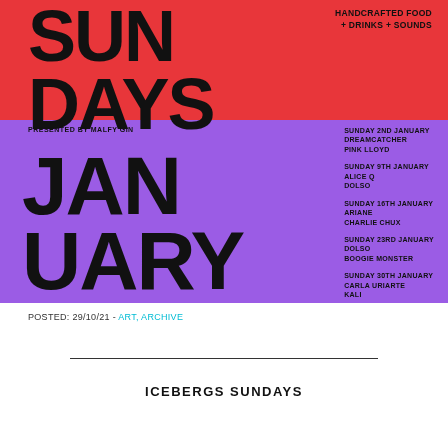[Figure (infographic): Event poster with red top section showing 'SUNDAYS' in large bold text and tagline 'HANDCRAFTED FOOD + DRINKS + SOUNDS', and purple bottom section showing 'JANUARY' in large bold text with event listings on the right side. Presented by Malfy Gin.]
POSTED: 29/10/21 - ART, ARCHIVE
ICEBERGS SUNDAYS